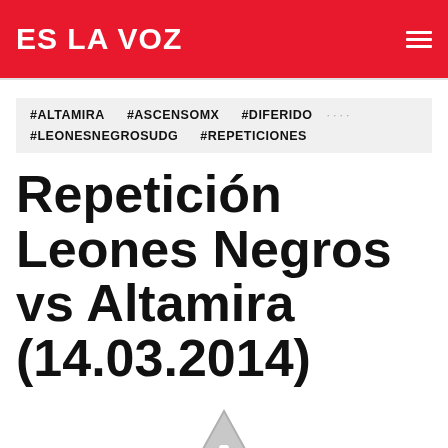ES LA VOZ
#ALTAMIRA  #ASCENSOMX  #DIFERIDO  ····  #LEONESNEGROSUDG  #REPETICIONES
Repetición Leones Negros vs Altamira (14.03.2014)
[Figure (other): Broken/unavailable media icon — grey triangle with exclamation mark]